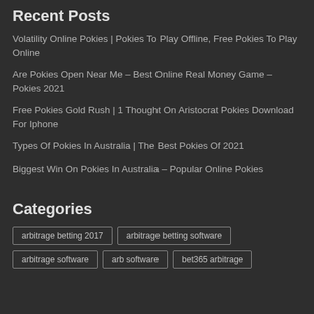Recent Posts
Volatility Online Pokies | Pokies To Play Offline, Free Pokies To Play Online
Are Pokies Open Near Me – Best Online Real Money Game – Pokies 2021
Free Pokies Gold Rush | 1 Thought On Aristocrat Pokies Download For Iphone
Types Of Pokies In Australia | The Best Pokies Of 2021
Biggest Win On Pokies In Australia – Popular Online Pokies
Categories
arbitrage betting 2017
arbitrage betting software
arbitrage software
arb software
bet365 arbitrage